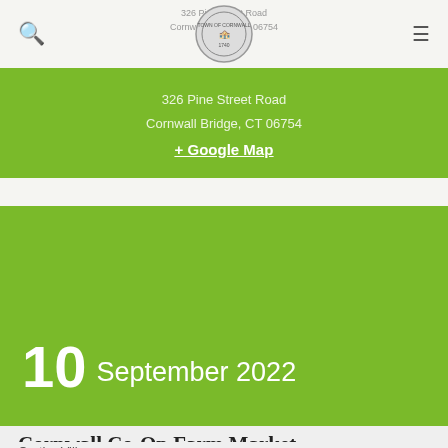Cornwall CT — 326 Pine Street Road, Cornwall Bridge, CT 06754
+ Google Map
10 September 2022
Cornwall Co-Op Farm Market
On the Village green